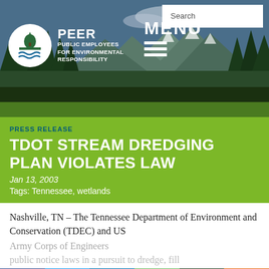[Figure (screenshot): PEER website header with mountain/forest background photo, PEER logo (white circle with tree/capitol icon), organization name 'PEER Public Employees for Environmental Responsibility', MENU navigation, and Search box]
PRESS RELEASE
TDOT STREAM DREDGING PLAN VIOLATES LAW
Jan 13, 2003
Tags: Tennessee, wetlands
Nashville, TN – The Tennessee Department of Environment and Conservation (TDEC) and US Army Corps of Engineers violated public notice laws in a pursuit to dredge, fill